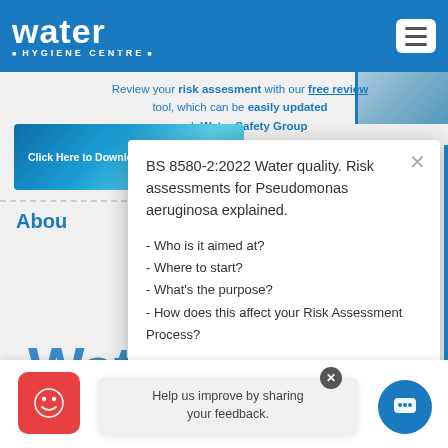water HYGIENE CENTRE
Review your risk assesment with our free review tool, which can be easily updated each Water Safety Group
[Figure (screenshot): Blue button: Click Here to Download Your F... with bacteria background image]
Abou
[Figure (screenshot): Popup overlay: BS 8580-2:2022 Water quality. Risk assessments for Pseudomonas aeruginosa explained. - Who is it aimed at? - Where to start? - What's the purpose? - How does this affect your Risk Assessment Process?]
Water
Help us improve by sharing your feedback.